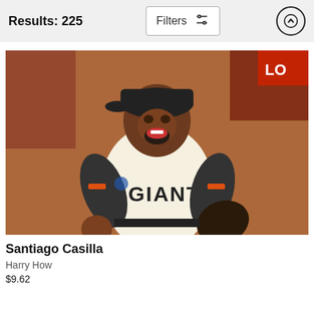Results: 225
[Figure (photo): A San Francisco Giants baseball player wearing a cream-colored Giants uniform with black undersleeves and a black cap, celebrating energetically with his mouth open wide and fist clenched, holding a glove in his right hand. The background shows a brick wall and a partial red sign.]
Santiago Casilla
Harry How
$9.62